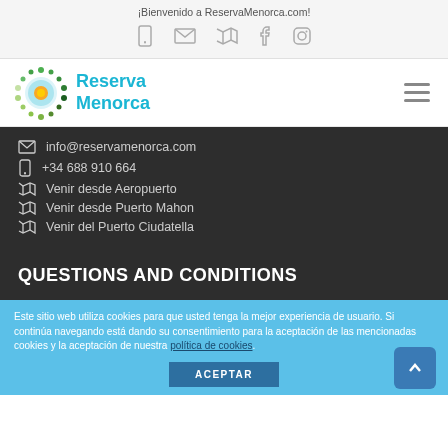¡Bienvenido a ReservaMenorca.com!
[Figure (screenshot): Navigation icons: phone, envelope, map, Facebook, Instagram]
[Figure (logo): Reserva Menorca logo with circular decorative emblem and teal text]
info@reservamenorca.com
+34 688 910 664
Venir desde Aeropuerto
Venir desde Puerto Mahon
Venir del Puerto Ciudatella
QUESTIONS AND CONDITIONS
Este sitio web utiliza cookies para que usted tenga la mejor experiencia de usuario. Si continúa navegando está dando su consentimiento para la aceptación de las mencionadas cookies y la aceptación de nuestra política de cookies.
ACEPTAR